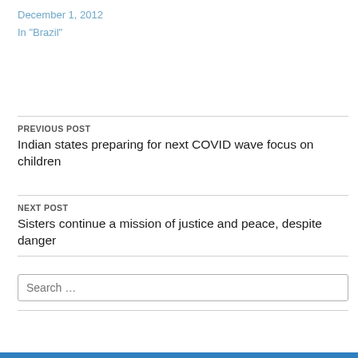December 1, 2012
In "Brazil"
PREVIOUS POST
Indian states preparing for next COVID wave focus on children
NEXT POST
Sisters continue a mission of justice and peace, despite danger
Search …